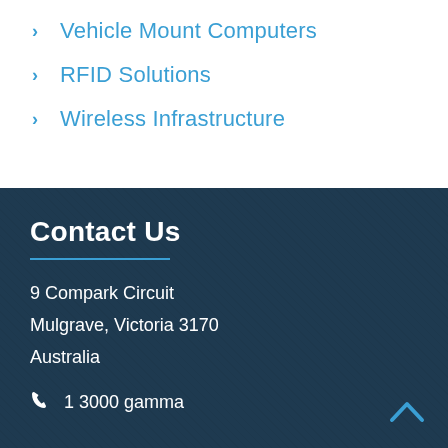Vehicle Mount Computers
RFID Solutions
Wireless Infrastructure
Contact Us
9 Compark Circuit
Mulgrave, Victoria 3170
Australia
1 3000 gamma